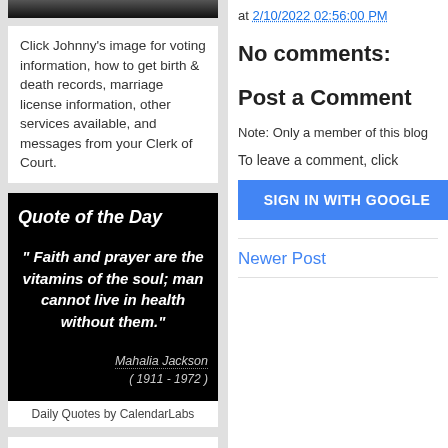[Figure (photo): Top portion of a photo strip showing two people in dark clothing, partially cropped at top]
Click Johnny's image for voting information, how to get birth & death records, marriage license information, other services available, and messages from your Clerk of Court.
[Figure (infographic): Quote of the Day image with black background. Title: Quote of the Day. Quote: " Faith and prayer are the vitamins of the soul; man cannot live in health without them." Attribution: Mahalia Jackson (1911 - 1972)]
Daily Quotes by CalendarLabs
at 2/10/2022 02:56:00 PM
No comments:
Post a Comment
Note: Only a member of this blog
To leave a comment, click
SIGN IN WITH GOOGLE
Newer Post